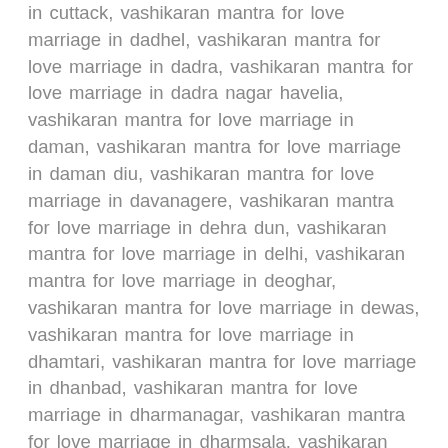in cuttack, vashikaran mantra for love marriage in dadhel, vashikaran mantra for love marriage in dadra, vashikaran mantra for love marriage in dadra nagar havelia, vashikaran mantra for love marriage in daman, vashikaran mantra for love marriage in daman diu, vashikaran mantra for love marriage in davanagere, vashikaran mantra for love marriage in dehra dun, vashikaran mantra for love marriage in delhi, vashikaran mantra for love marriage in deoghar, vashikaran mantra for love marriage in dewas, vashikaran mantra for love marriage in dhamtari, vashikaran mantra for love marriage in dhanbad, vashikaran mantra for love marriage in dharmanagar, vashikaran mantra for love marriage in dharmsala, vashikaran mantra for love marriage in dibrugarh, vashikaran mantra for love marriage in dimapur, vashikaran mantra for love marriage in diu, vashikaran mantra for love marriage in durgapur, vashikaran mantra for love marriage in erode, vashikaran mantra for love marriage in faridabad, vashikaran mantra for love marriage in gangtok, vashikaran mantra for love marriage in garacherama, vashikaran mantra for love marriage in ghaziabad,